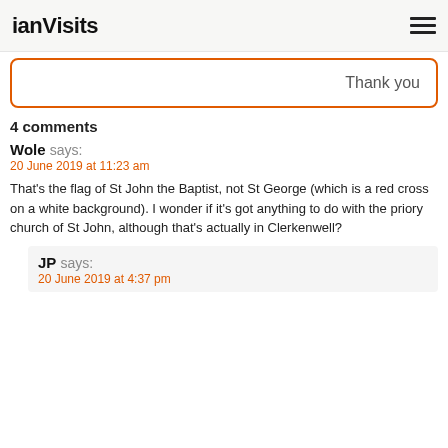ianVisits
Thank you
4 comments
Wole says:
20 June 2019 at 11:23 am

That's the flag of St John the Baptist, not St George (which is a red cross on a white background). I wonder if it's got anything to do with the priory church of St John, although that's actually in Clerkenwell?
JP says:
20 June 2019 at 4:37 pm